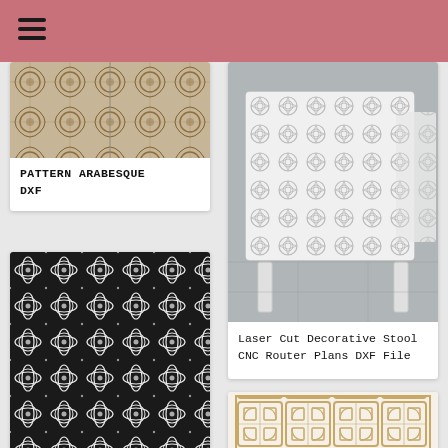[Figure (photo): Two panels of carved arabesque pattern in beige/tan relief]
PATTERN ARABESQUE DXF
[Figure (photo): Black laser-cut panel with repeating floral/star pattern in dark metal]
[Figure (photo): White laser-cut decorative stool with Moroccan geometric pattern, CNC router]
Laser Cut Decorative Stool CNC Router Plans DXF File
[Figure (photo): Tan/beige laser-cut geometric grid panel with rounded rectangular cutouts]